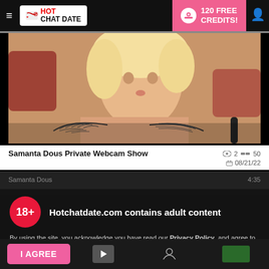Hot Chat Date — 120 FREE CREDITS!
[Figure (photo): Webcam show thumbnail of a young blonde woman with tattoos on her chest]
Samanta Dous Private Webcam Show   👁 2  ≡≡ 50   📹 08/21/22
Hotchatdate.com contains adult content
By using the site, you acknowledge you have read our Privacy Policy, and agree to our Terms and Conditions.
We use cookies to optimize your experience, analyze traffic, and deliver more personalized service. To learn more, please see our Privacy Policy.
I AGREE